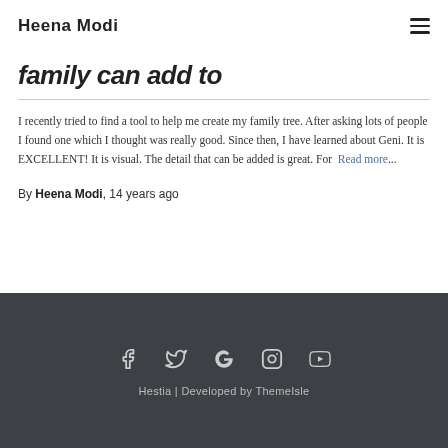Heena Modi
family can add to
I recently tried to find a tool to help me create my family tree. After asking lots of people I found one which I thought was really good. Since then, I have learned about Geni. It is EXCELLENT! It is visual. The detail that can be added is great. For Read more...
By Heena Modi, 14 years ago
Hestia | Developed by ThemeIsle